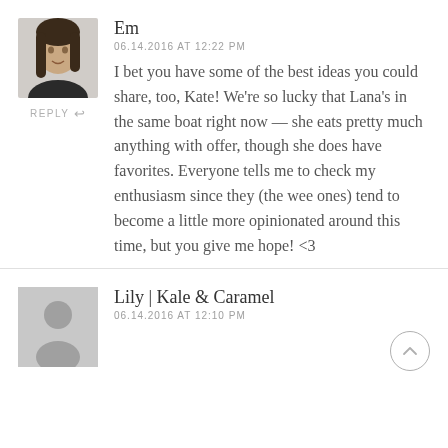[Figure (photo): Avatar photo of commenter Em — a woman with long brown hair]
Em
06.14.2016 AT 12:22 PM
REPLY ↩
I bet you have some of the best ideas you could share, too, Kate! We're so lucky that Lana's in the same boat right now — she eats pretty much anything with offer, though she does have favorites. Everyone tells me to check my enthusiasm since they (the wee ones) tend to become a little more opinionated around this time, but you give me hope! <3
[Figure (illustration): Gray placeholder avatar silhouette for commenter Lily | Kale & Caramel]
Lily | Kale & Caramel
06.14.2016 AT 12:10 PM